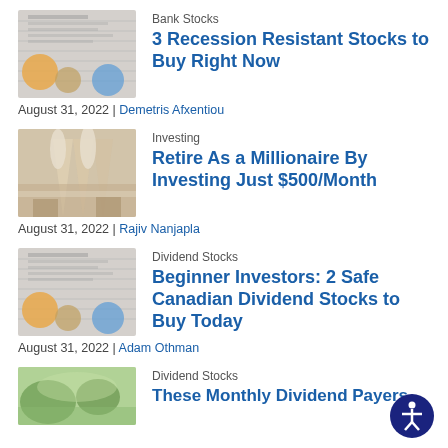[Figure (photo): Thumbnail image of stock charts and coins]
Bank Stocks
3 Recession Resistant Stocks to Buy Right Now
August 31, 2022 | Demetris Afxentiou
[Figure (photo): Thumbnail image of champagne glasses being toasted]
Investing
Retire As a Millionaire By Investing Just $500/Month
August 31, 2022 | Rajiv Nanjapla
[Figure (photo): Thumbnail image of stock charts and coins]
Dividend Stocks
Beginner Investors: 2 Safe Canadian Dividend Stocks to Buy Today
August 31, 2022 | Adam Othman
[Figure (photo): Thumbnail image of green plants/nature]
Dividend Stocks
These Monthly Dividend Payers